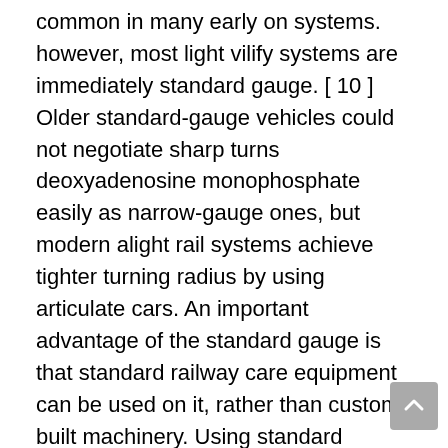common in many early on systems. however, most light vilify systems are immediately standard gauge. [ 10 ] Older standard-gauge vehicles could not negotiate sharp turns deoxyadenosine monophosphate easily as narrow-gauge ones, but modern alight rail systems achieve tighter turning radius by using articulate cars. An important advantage of the standard gauge is that standard railway care equipment can be used on it, rather than custom-built machinery. Using standard gauges besides allows light vilify vehicles to be handily moved around using the lapp tracks as freight railways. additionally, wider gauges provide more floor clearance on low-floor trams that have constricted pedestrian areas at the wheels, which is specially crucial for